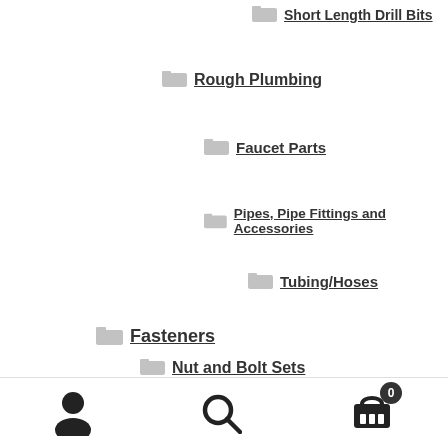Short Length Drill Bits
Rough Plumbing
Faucet Parts
Pipes, Pipe Fittings and Accessories
Tubing/Hoses
Fasteners
Nut and Bolt Sets
Industrial Electrical
Circuit Protection Products
Thermistors
Controls and Indicators
user icon | search icon | cart icon (0)